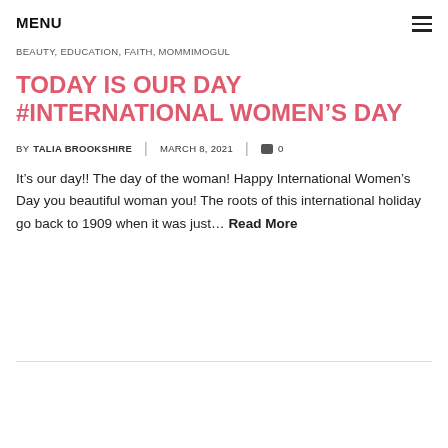MENU
BEAUTY, EDUCATION, FAITH, MOMMIMOGUL
TODAY IS OUR DAY #INTERNATIONAL WOMEN'S DAY
BY TALIA BROOKSHIRE | MARCH 8, 2021 | 0
It’s our day!! The day of the woman! Happy International Women’s Day you beautiful woman you! The roots of this international holiday go back to 1909 when it was just… Read More